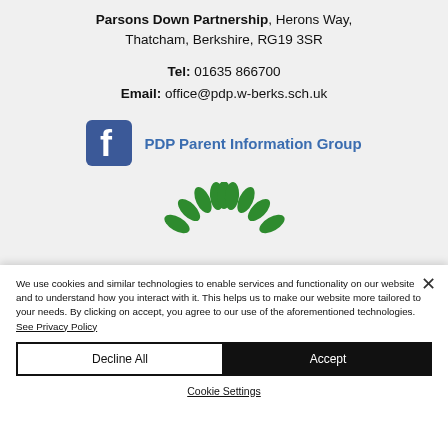Parsons Down Partnership, Herons Way, Thatcham, Berkshire, RG19 3SR
Tel: 01635 866700
Email: office@pdp.w-berks.sch.uk
[Figure (logo): Facebook logo icon next to text 'PDP Parent Information Group']
[Figure (illustration): Green plant/flower decorative illustration]
We use cookies and similar technologies to enable services and functionality on our website and to understand how you interact with it. This helps us to make our website more tailored to your needs. By clicking on accept, you agree to our use of the aforementioned technologies. See Privacy Policy
Decline All
Accept
Cookie Settings